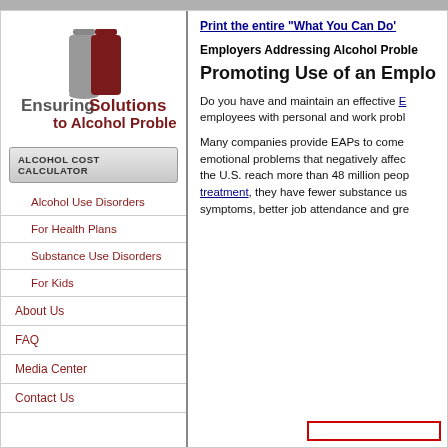[Figure (logo): Ensuring Solutions to Alcohol Problems logo with bottle icon in gray and dark red]
ALCOHOL COST CALCULATOR
Alcohol Use Disorders
For Health Plans
Substance Use Disorders
For Kids
About Us
FAQ
Media Center
Contact Us
Print the entire "What You Can Do"
Employers Addressing Alcohol Proble...
Promoting Use of an Emplo...
Do you have and maintain an effective E... employees with personal and work probl...
Many companies provide EAPs to come... emotional problems that negatively affec... the U.S. reach more than 48 million peop... treatment, they have fewer substance us... symptoms, better job attendance and gre...